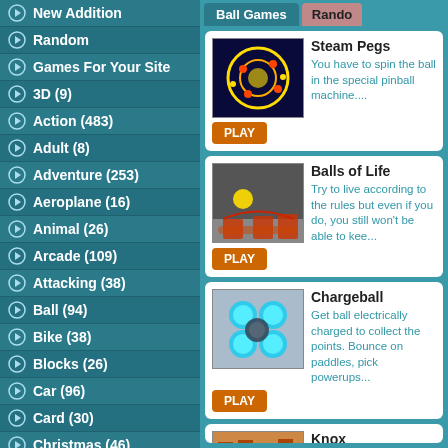New Addition
Random
Games For Your Site
3D (9)
Action (483)
Adult (8)
Adventure (253)
Aeroplane (16)
Animal (26)
Arcade (109)
Attacking (38)
Ball (94)
Bike (38)
Blocks (26)
Car (96)
Card (30)
Christmas (46)
Classic (29)
Collecting (58)
Defense (53)
Destroy (31)
Difference (45)
Ball Games | Random
Steam Pegs - You have to spin the ball in the special pinball machine....
Balls of Life - Try to live according to the rules but even if you do, you still won't be able to kee...
Chargeball - Get ball electrically charged to collect the points. Bounce on paddles, pick powerups...
Knox